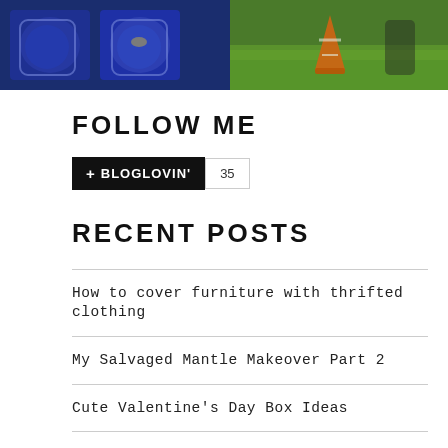[Figure (photo): Two-panel photo strip at top: left panel shows jars/bags with blue items on a table, right panel shows orange traffic cone near green grass outdoors.]
FOLLOW ME
[Figure (other): Bloglovin follow button widget: black button with '+ BLOGLOVIN'' text and a count badge showing '35']
RECENT POSTS
How to cover furniture with thrifted clothing
My Salvaged Mantle Makeover Part 2
Cute Valentine's Day Box Ideas
My Salvaged Mantle Makeover Part 1
Should I Stay or Should I Go?